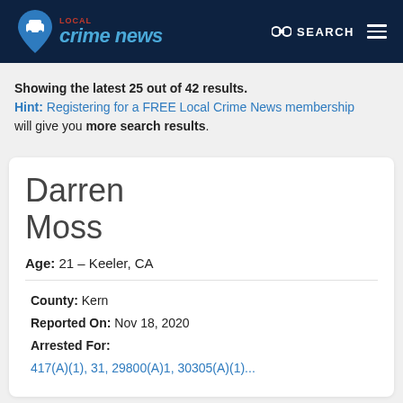[Figure (logo): Local Crime News logo with map pin icon, blue and red text on dark navy header]
Showing the latest 25 out of 42 results. Hint: Registering for a FREE Local Crime News membership will give you more search results.
Darren Moss
Age: 21 – Keeler, CA
County: Kern
Reported On: Nov 18, 2020
Arrested For:
417(A)(1), 31, 29800(A)1, 30305(A)(1)...